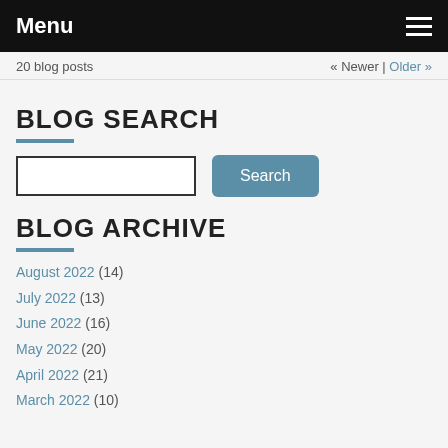Menu
20 blog posts
« Newer | Older »
BLOG SEARCH
BLOG ARCHIVE
August 2022 (14)
July 2022 (13)
June 2022 (16)
May 2022 (20)
April 2022 (21)
March 2022 (10)